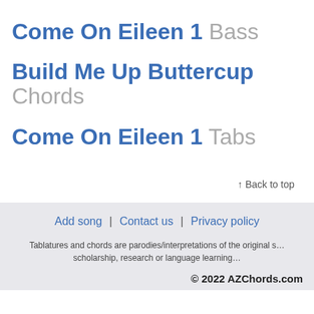Come On Eileen 1 Bass
Build Me Up Buttercup Chords
Come On Eileen 1 Tabs
↑ Back to top
Add song | Contact us | Privacy policy
Tablatures and chords are parodies/interpretations of the original s… scholarship, research or language learning…
© 2022 AZChords.com